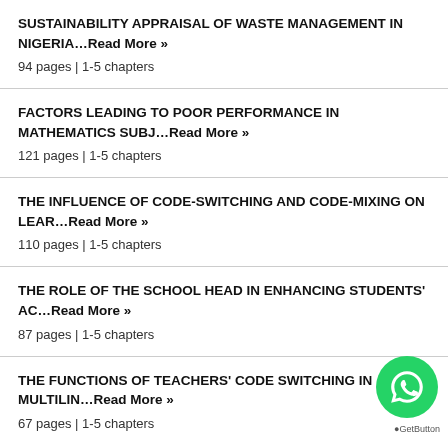SUSTAINABILITY APPRAISAL OF WASTE MANAGEMENT IN NIGERIA...Read More »
94 pages | 1-5 chapters
FACTORS LEADING TO POOR PERFORMANCE IN MATHEMATICS SUBJ...Read More »
121 pages | 1-5 chapters
THE INFLUENCE OF CODE-SWITCHING AND CODE-MIXING ON LEAR...Read More »
110 pages | 1-5 chapters
THE ROLE OF THE SCHOOL HEAD IN ENHANCING STUDENTS' AC...Read More »
87 pages | 1-5 chapters
THE FUNCTIONS OF TEACHERS' CODE SWITCHING IN MULTILIN...Read More »
67 pages | 1-5 chapters